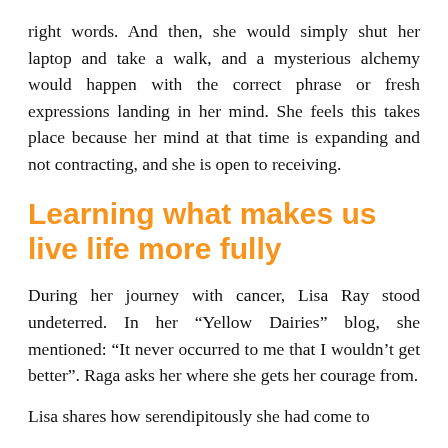right words. And then, she would simply shut her laptop and take a walk, and a mysterious alchemy would happen with the correct phrase or fresh expressions landing in her mind. She feels this takes place because her mind at that time is expanding and not contracting, and she is open to receiving.
Learning what makes us live life more fully
During her journey with cancer, Lisa Ray stood undeterred. In her “Yellow Dairies” blog, she mentioned: “It never occurred to me that I wouldn’t get better”. Raga asks her where she gets her courage from.
Lisa shares how serendipitously she had come to